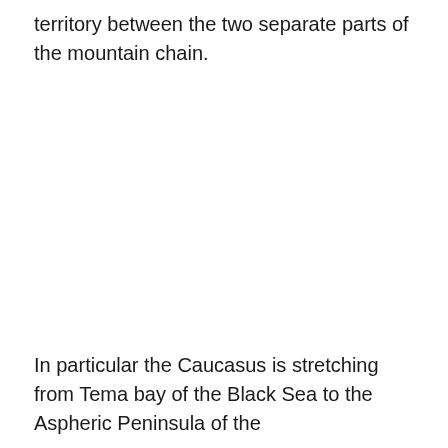territory between the two separate parts of the mountain chain.
In particular the Caucasus is stretching from Tema bay of the Black Sea to the Aspheric Peninsula of the